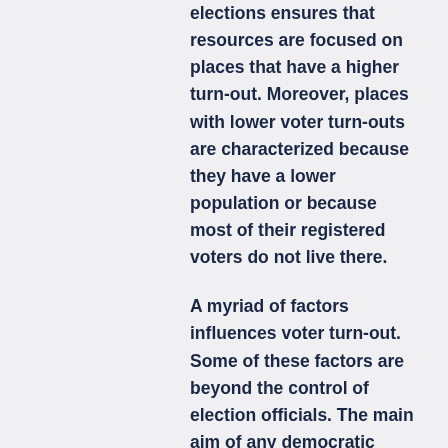elections ensures that resources are focused on places that have a higher turn-out. Moreover, places with lower voter turn-outs are characterized because they have a lower population or because most of their registered voters do not live there.
A myriad of factors influences voter turn-out. Some of these factors are beyond the control of election officials. The main aim of any democratic process is to maintain erection integrity. Consequently, while increasing voter turn-out is key, protecting the integrity of the elections is more important.
Repeated Personal Contact